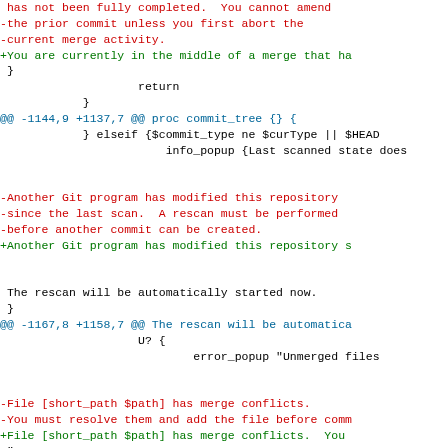diff hunk content showing removed and added lines in a git diff for commit_tree and commit_committree procedures